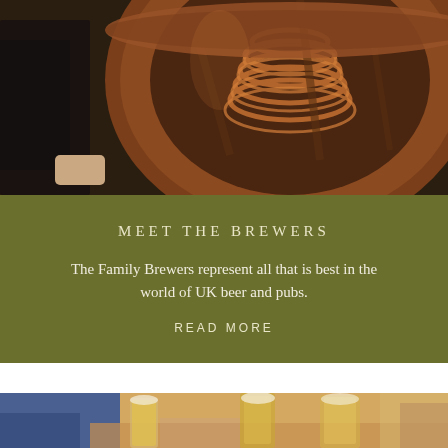[Figure (photo): Photo of brewery equipment — a large copper brewing vessel with coiled copper pipes/wiring inside, person in dark clothing visible on the left]
MEET THE BREWERS
The Family Brewers represent all that is best in the world of UK beer and pubs.
READ MORE
[Figure (photo): Photo of people clinking glasses of beer at a pub, warm bokeh background]